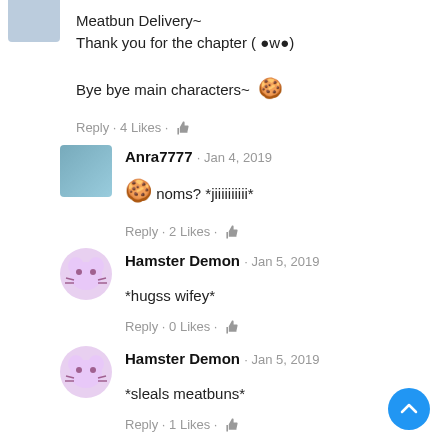Meatbun Delivery~
Thank you for the chapter ( ●w●)

Bye bye main characters~ 🍪
Reply · 4 Likes · 👍
Anra7777 · Jan 4, 2019
🍪 noms? *jiiiiiiiiii*
Reply · 2 Likes · 👍
Hamster Demon · Jan 5, 2019
*hugss wifey*
Reply · 0 Likes · 👍
Hamster Demon · Jan 5, 2019
*sleals meatbuns*
Reply · 1 Likes · 👍